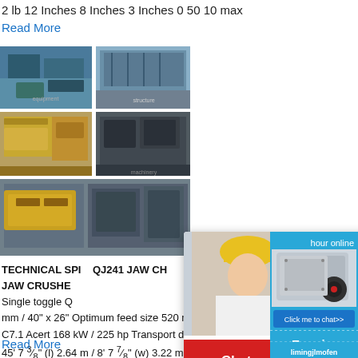2 lb 12 Inches 8 Inches 3 Inches 0 50 10 max
Read More
[Figure (photo): Collage of industrial mining/crushing equipment photos]
TECHNICAL SPI
QJ241 JAW CH
JAW CRUSHE
Single toggle Q
mm / 40" x 26" Optimum feed size 520 mm
C7.1 Acert 168 kW / 225 hp Transport dime
45' 7 ⅜" (l) 2.64 m / 8' 7 ⅞" (w) 3.22 m / 10'
Read More
[Figure (photo): Construction/industrial site with cranes and structures]
[Figure (screenshot): Live chat popup overlay with worker in yellow hard hat, Chat now and Chat later buttons]
[Figure (photo): Right sidebar with hour online text, jaw crusher machine photo, Click me to chat button, Enquiry section, limingjlmofen text]